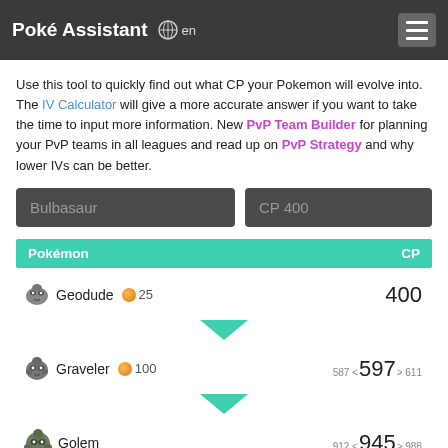Poké Assistant  🌐 en
Use this tool to quickly find out what CP your Pokemon will evolve into. The IV Calculator will give a more accurate answer if you want to take the time to input more information. New PvP Team Builder for planning your PvP teams in all leagues and read up on PvP Strategy and why lower IVs can be better.
| Pokémon | CP |
| --- | --- |
| Geodude  25 | 400 |
| Graveler  100 | 587 < 597 > 611 |
| Golem | 912 < 945 > 988 |